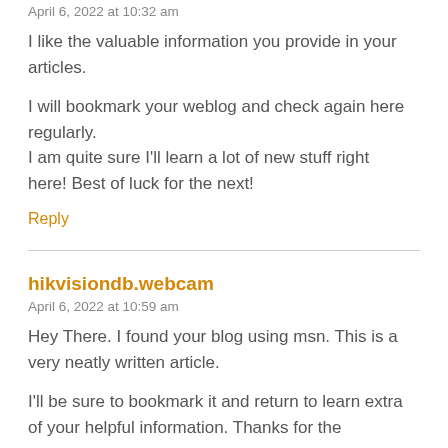April 6, 2022 at 10:32 am
I like the valuable information you provide in your articles.
I will bookmark your weblog and check again here regularly. I am quite sure I'll learn a lot of new stuff right here! Best of luck for the next!
Reply
hikvisiondb.webcam
April 6, 2022 at 10:59 am
Hey There. I found your blog using msn. This is a very neatly written article.
I'll be sure to bookmark it and return to learn extra of your helpful information. Thanks for the